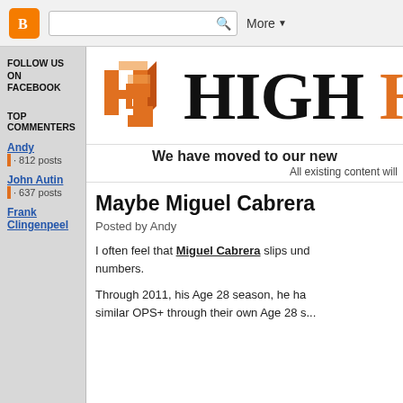Blogger toolbar with search and More button
[Figure (logo): High Heat Stats blog logo with orange 3D block letters HS and large bold text HIGH in black and orange]
We have moved to our new...
All existing content will...
FOLLOW US ON FACEBOOK
TOP COMMENTERS
Andy · 812 posts
John Autin · 637 posts
Frank Clingenpeel
Maybe Miguel Cabrera...
Posted by Andy
I often feel that Miguel Cabrera slips und... numbers.
Through 2011, his Age 28 season, he ha... similar OPS+ through their own Age 28 s...